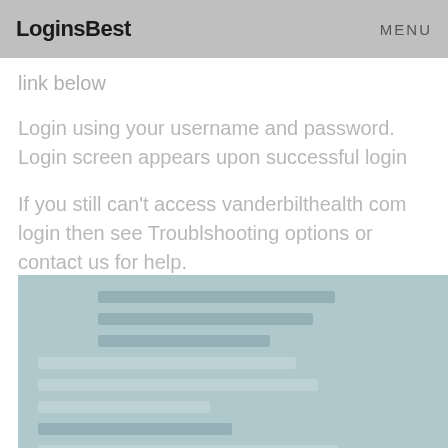LoginsBest   MENU
link below
Login using your username and password. Login screen appears upon successful login
If you still can't access vanderbilthealth com login then see Troublshooting options or contact us for help.
[Figure (screenshot): A blurred/faded screenshot of a login page with a light blue-grey background, showing form fields and labels.]